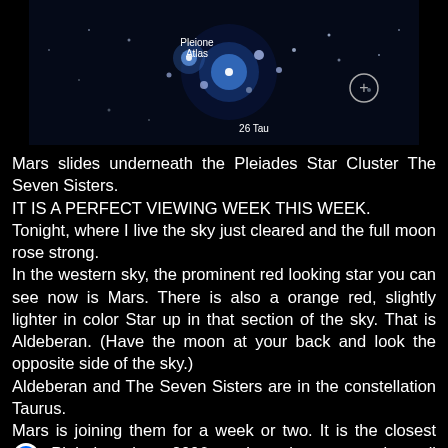[Figure (photo): Star cluster image on dark background showing labeled stars: Pleione, Atlas, 26 Tau, with a zoom/plus button on the right]
Mars slides underneath the Pleiades Star Cluster The Seven Sisters.
IT IS A PERFECT VIEWING WEEK THIS WEEK.
Tonight, where I live the sky just cleared and the full moon rose strong.
In the western sky, the prominent red looking star you can see now is Mars. There is also a orange red, slightly lighter in color Star up in that section of the sky. That is Aldeberan. (Have the moon at your back and look the opposite side of the sky.)
Aldeberan and The Seven Sisters are in the constellation Taurus.
Mars is joining them for a week or two. It is the closest [messenger icon] Pleiades since 2006, and won't come again until 2038.